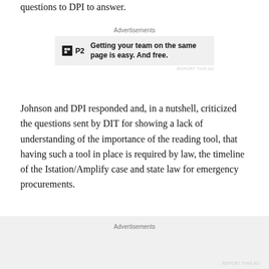questions to DPI to answer.
[Figure (other): Advertisement banner: P2 logo with text 'Getting your team on the same page is easy. And free.']
Johnson and DPI responded and, in a nutshell, criticized the questions sent by DIT for showing a lack of understanding of the importance of the reading tool, that having such a tool in place is required by law, the timeline of the Istation/Amplify case and state law for emergency procurements.
“While I appreciate your questions, I am concerned that the agency DPI worked so closely with during this
[Figure (other): Advertisement banner area at bottom of page with 'Advertisements' label]